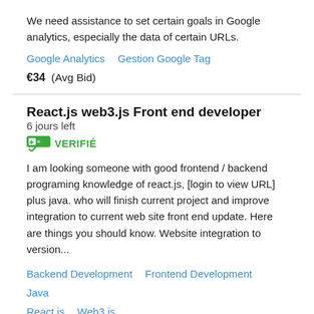We need assistance to set certain goals in Google analytics, especially the data of certain URLs.
Google Analytics   Gestion Google Tag
€34  (Avg Bid)
React.js web3.js Front end developer  6 jours left  VERIFIÉ
I am looking someone with good frontend / backend programing knowledge of react.js, [login to view URL] plus java. who will finish current project and improve integration to current web site front end update. Here are things you should know. Website integration to version...
Backend Development   Frontend Development   Java   React.js   Web3.js
€210  (Avg Bid)